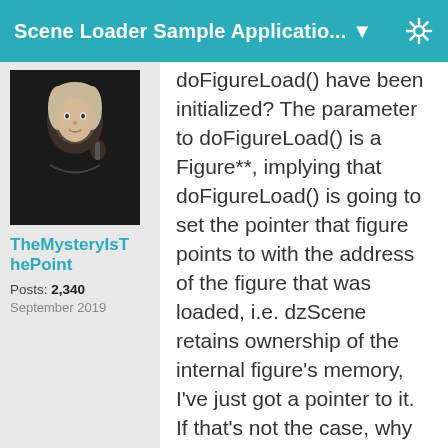Scene Loader Sample Applicatio... ▼
[Figure (photo): Avatar photo of a person in dark fantasy costume]
TheMysteryIsThePoint
Posts: 2,340
September 2019
doFigureLoad() has been initialized? The parameter to doFigureLoad() is a Figure**, implying that doFigureLoad() is going to set the pointer that figure points to with the address of the figure that was loaded, i.e. dzScene retains ownership of the internal figure's memory, I've just got a pointer to it. If that's not the case, why is the figure parameter not just a Figure*, or even Figure& then? I am actually more confused now than before :(